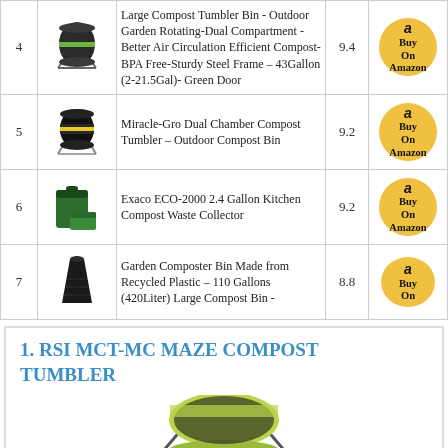| # | Image | Product | Score | Link |
| --- | --- | --- | --- | --- |
| 4 | [image] | Large Compost Tumbler Bin - Outdoor Garden Rotating-Dual Compartment - Better Air Circulation Efficient Compost- BPA Free-Sturdy Steel Frame – 43Gallon (2-21.5Gal)- Green Door | 9.4 | Buy On Amazon |
| 5 | [image] | Miracle-Gro Dual Chamber Compost Tumbler – Outdoor Compost Bin | 9.2 | Buy On Amazon |
| 6 | [image] | Exaco ECO-2000 2.4 Gallon Kitchen Compost Waste Collector | 9.2 | Buy On Amazon |
| 7 | [image] | Garden Composter Bin Made from Recycled Plastic – 110 Gallons (420Liter) Large Compost Bin - | 8.8 | Buy On Amazon |
1. RSI MCT-MC MAZE COMPOST TUMBLER
[Figure (photo): Partially visible image of the RSI MCT-MC Maze Compost Tumbler, showing green and yellow tumbler.]